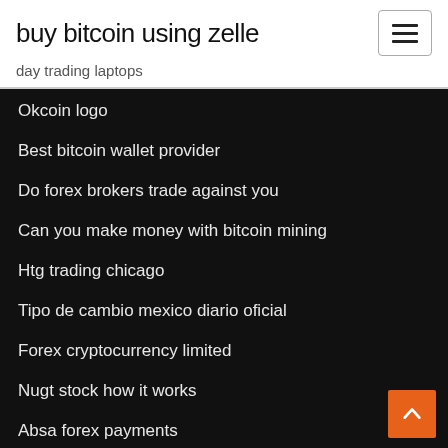buy bitcoin using zelle
day trading laptops
Okcoin logo
Best bitcoin wallet provider
Do forex brokers trade against you
Can you make money with bitcoin mining
Htg trading chicago
Tipo de cambio mexico diario oficial
Forex cryptocurrency limited
Nugt stock how it works
Absa forex payments
Strategic investing vs tactical